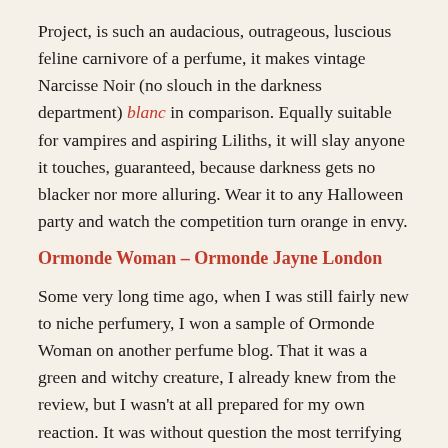Project, is such an audacious, outrageous, luscious feline carnivore of a perfume, it makes vintage Narcisse Noir (no slouch in the darkness department) blanc in comparison. Equally suitable for vampires and aspiring Liliths, it will slay anyone it touches, guaranteed, because darkness gets no blacker nor more alluring. Wear it to any Halloween party and watch the competition turn orange in envy.
Ormonde Woman – Ormonde Jayne London
Some very long time ago, when I was still fairly new to niche perfumery, I won a sample of Ormonde Woman on another perfume blog. That it was a green and witchy creature, I already knew from the review, but I wasn't at all prepared for my own reaction. It was without question the most terrifying perfume I had ever encountered in my life, so much so, it was the original inspiration for Lilith's perfume. Not for being repellent (which it wasn't) nor even poisonous (although there was that hemlock absolute…) but precisely because it was such a feral thing of the forest. It took me a good long time (and very many perfumes) to come around to Ormonde Woman, but now I have another wafting weapon at my disposal to put the capital B in bewitching.